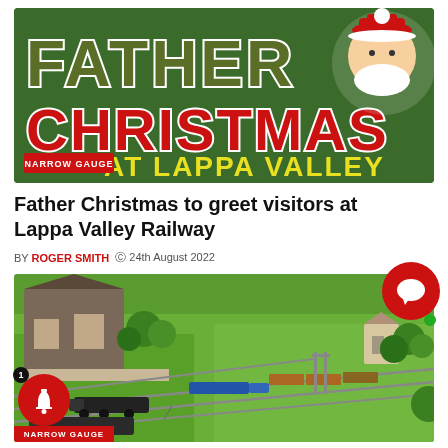[Figure (illustration): Father Christmas at Lappa Valley banner with green background, large stylised text reading FATHER in olive/dark green, CHRISTMAS in red, at Lappa Valley in yellow, with cartoon Santa Claus top-right and a red NARROW GAUGE tag bottom-left]
Father Christmas to greet visitors at Lappa Valley Railway
BY ROGER SMITH  © 24th August 2022
[Figure (photo): Aerial view of a detailed model railway layout showing multiple tracks with locomotives and rolling stock on green scenic baseboard, with station buildings on the left and a village on the right. A red NARROW GAUGE tag appears at the bottom.]